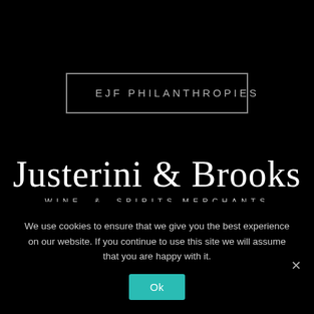[Figure (logo): EJF Philanthropies logo: text 'EJF PHILANTHROPIES' in grey spaced caps inside a thin rectangular border, on black background]
[Figure (logo): Justerini & Brooks Wine & Spirits Merchants logo: large serif italic-style text 'Justerini & Brooks' with subtitle 'WINE & SPIRITS MERCHANTS' in small caps, white on black background]
We use cookies to ensure that we give you the best experience on our website. If you continue to use this site we will assume that you are happy with it.